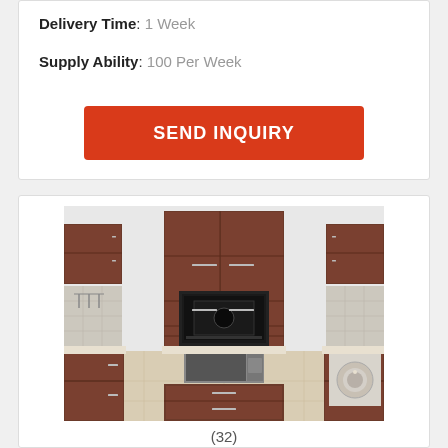Delivery Time: 1 Week
Supply Ability: 100 Per Week
SEND INQUIRY
[Figure (photo): Rendered interior view of a modular U-shaped kitchen with dark wood-finish cabinets, built-in oven and microwave, washing machine, and light tile flooring]
(32)